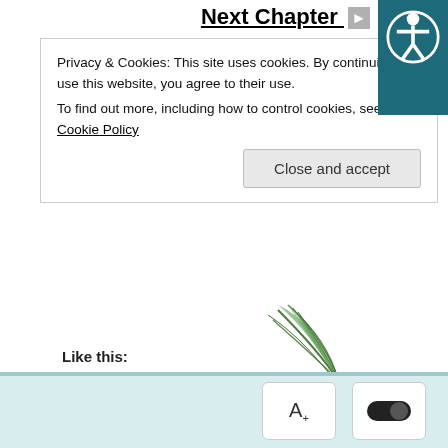Next Chapter
Privacy & Cookies: This site uses cookies. By continuing to use this website, you agree to their use.
To find out more, including how to control cookies, see here: Cookie Policy
Close and accept
Like this:
[Figure (other): Like button with star icon, followed by user avatar thumbnails and patterned avatar icons. Below: '11 bloggers like this.']
11 bloggers like this.
Related Tags:  Chinese-English  Novel  omegaverse
[Figure (illustration): Decorative green palm leaf illustration at bottom right]
[Figure (other): Bottom toolbar with font size button (A+) and dark mode toggle button, over a teal bar]